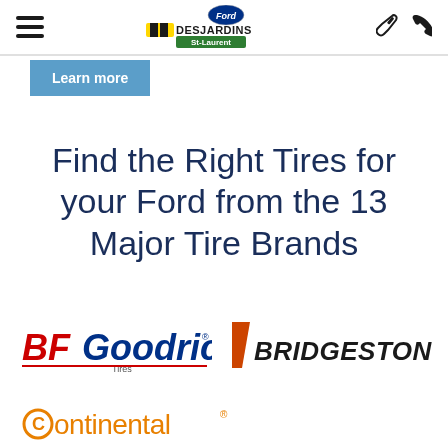Desjardins St-Laurent Ford — navigation bar
Learn more
Find the Right Tires for your Ford from the 13 Major Tire Brands
[Figure (logo): BFGoodrich Tires logo — red and blue text with underline]
[Figure (logo): Bridgestone logo — black text with orange/red diagonal stripe]
[Figure (logo): Continental logo — gold/orange text with C symbol]